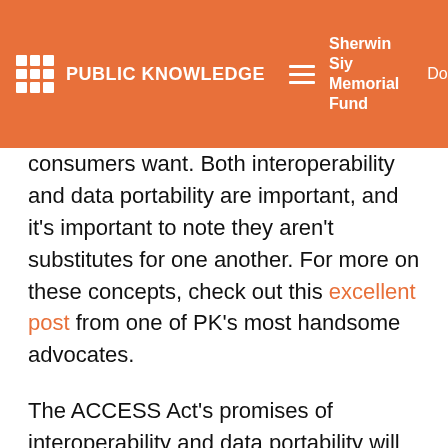PUBLIC KNOWLEDGE | Sherwin Siy Memorial Fund | Donate
consumers want. Both interoperability and data portability are important, and it's important to note they aren't substitutes for one another. For more on these concepts, check out this excellent post from one of PK's most handsome advocates.
The ACCESS Act's promises of interoperability and data portability will benefit from enforcement and oversight by the Federal Trade Commission. The bill also establishes a technical